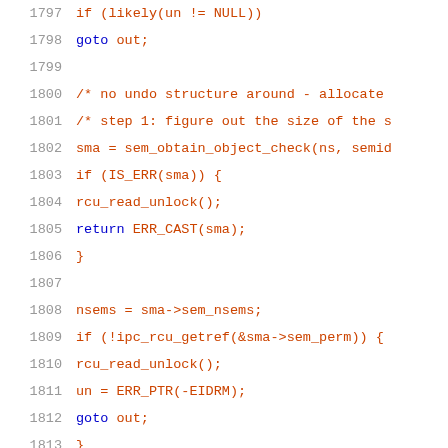Source code listing lines 1797-1818, C kernel code with syntax highlighting